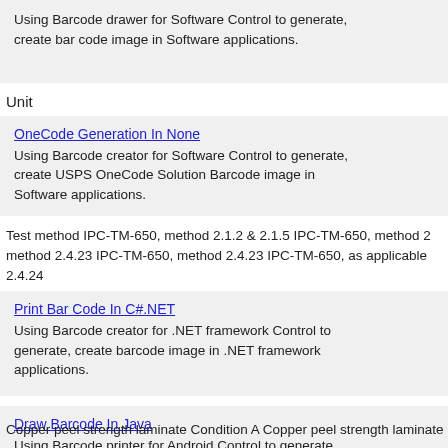Using Barcode drawer for Software Control to generate, create bar code image in Software applications.
Unit
OneCode Generation In None
Using Barcode creator for Software Control to generate, create USPS OneCode Solution Barcode image in Software applications.
Test method IPC-TM-650, method 2.1.2 & 2.1.5 IPC-TM-650, method 2 method 2.4.23 IPC-TM-650, method 2.4.23 IPC-TM-650, as applicable 2.4.24
Print Bar Code In C#.NET
Using Barcode creator for .NET framework Control to generate, create barcode image in .NET framework applications.
Draw Barcode In Java
Using Barcode printer for Android Control to generate, create barcode image in Android applications.
Copper peel strength laminate Condition A Copper peel strength laminate